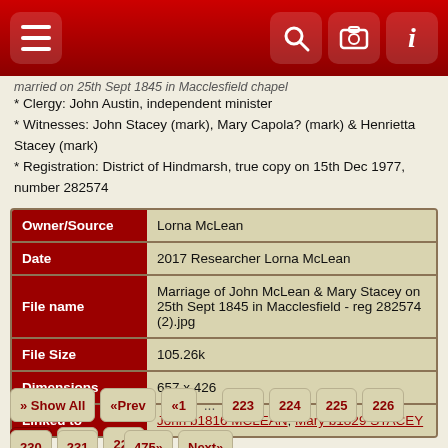Navigation header with hamburger menu and icons
* Clergy: John Austin, independent minister
* Witnesses: John Stacey (mark), Mary Capola? (mark) & Henrietta Stacey (mark)
* Registration: District of Hindmarsh, true copy on 15th Dec 1977, number 282574
| Field | Value |
| --- | --- |
| Owner/Source | Lorna McLean |
| Date | 2017 Researcher Lorna McLean |
| File name | Marriage of John McLean & Mary Stacey on 25th Sept 1845 in Macclesfield - reg 282574 (2).jpg |
| File Size | 105.26k |
| Dimensions | 657 x 426 |
| Linked to | John b1816 MCLEAN; Mary b1829 STACEY |
» Show All  «Prev  «1  ...  223  224  225  226  227  228  229  230  231  ...  475»  Next»